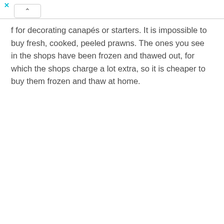f for decorating canapés or starters. It is impossible to buy fresh, cooked, peeled prawns. The ones you see in the shops have been frozen and thawed out, for which the shops charge a lot extra, so it is cheaper to buy them frozen and thaw at home.